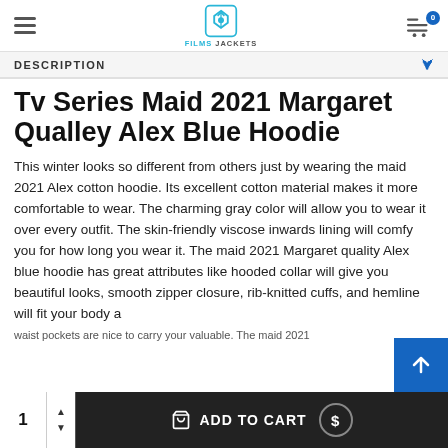Films Jackets
DESCRIPTION
Tv Series Maid 2021 Margaret Qualley Alex Blue Hoodie
This winter looks so different from others just by wearing the maid 2021 Alex cotton hoodie. Its excellent cotton material makes it more comfortable to wear. The charming gray color will allow you to wear it over every outfit. The skin-friendly viscose inwards lining will comfy you for how long you wear it. The maid 2021 Margaret quality Alex blue hoodie has great attributes like hooded collar will give you beautiful looks, smooth zipper closure, rib-knitted cuffs, and hemline will fit your body and waist pockets are nice to carry your valuable. The maid 2021